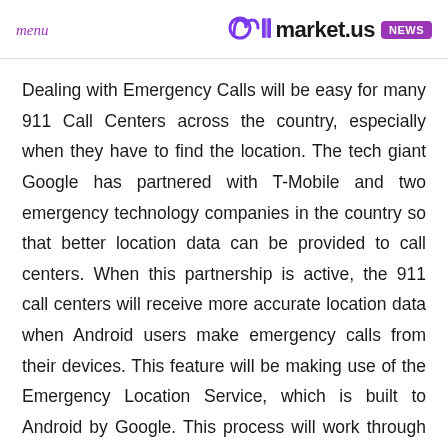menu | market.us NEWS
Dealing with Emergency Calls will be easy for many 911 Call Centers across the country, especially when they have to find the location. The tech giant Google has partnered with T-Mobile and two emergency technology companies in the country so that better location data can be provided to call centers. When this partnership is active, the 911 call centers will receive more accurate location data when Android users make emergency calls from their devices. This feature will be making use of the Emergency Location Service, which is built to Android by Google. This process will work through different steps as it